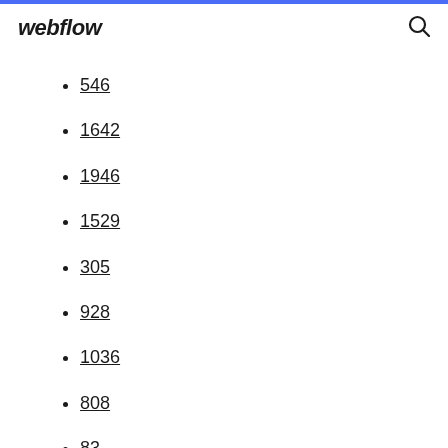webflow
546
1642
1946
1529
305
928
1036
808
83
1547
552
1825
1631